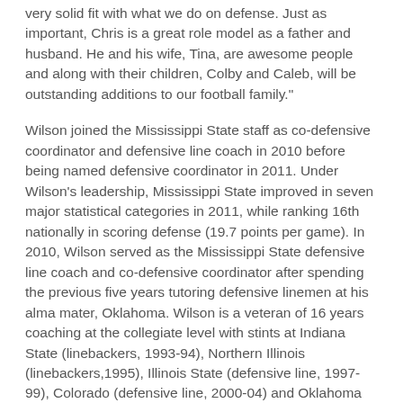very solid fit with what we do on defense. Just as important, Chris is a great role model as a father and husband. He and his wife, Tina, are awesome people and along with their children, Colby and Caleb, will be outstanding additions to our football family."
Wilson joined the Mississippi State staff as co-defensive coordinator and defensive line coach in 2010 before being named defensive coordinator in 2011. Under Wilson's leadership, Mississippi State improved in seven major statistical categories in 2011, while ranking 16th nationally in scoring defense (19.7 points per game). In 2010, Wilson served as the Mississippi State defensive line coach and co-defensive coordinator after spending the previous five years tutoring defensive linemen at his alma mater, Oklahoma. Wilson is a veteran of 16 years coaching at the collegiate level with stints at Indiana State (linebackers, 1993-94), Northern Illinois (linebackers,1995), Illinois State (defensive line, 1997-99), Colorado (defensive line, 2000-04) and Oklahoma (defensive ends/special teams coordinator, 2005-09).
"Our family is excited to have the opportunity of coaching at